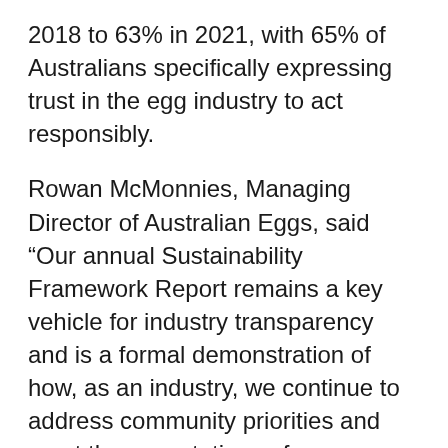2018 to 63% in 2021, with 65% of Australians specifically expressing trust in the egg industry to act responsibly.
Rowan McMonnies, Managing Director of Australian Eggs, said “Our annual Sustainability Framework Report remains a key vehicle for industry transparency and is a formal demonstration of how, as an industry, we continue to address community priorities and meet the expectations of our community.”
The Australian Eggs Sustainability Framework examines the relationship between the Australian public and the egg industry, through an annual community survey that has which builds the the